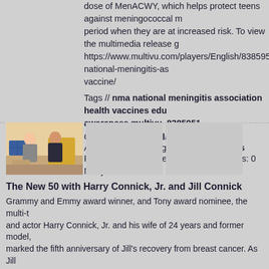dose of MenACWY, which helps protect teens against meningococcal m... period when they are at increased risk. To view the multimedia release g... https://www.multivu.com/players/English/8385951-national-meningitis-as... vaccine/
Tags // nma national meningitis association health vaccines edu... awareness multivu 8385951
Categories // Miscellaneous
Added: 1432 days ago by MultiVuVideos
Runtime: 1m44s | Views: 401 | Comments: 0
Not yet rated
[Figure (photo): Thumbnail showing two people sitting on a couch in conversation, with blue pillow and yellow chair visible]
[Figure (photo): Blank/loading thumbnail placeholder]
[Figure (photo): Blank/loading thumbnail placeholder]
The New 50 with Harry Connick, Jr. and Jill Connick
Grammy and Emmy award winner, and Tony award nominee, the multi-t... and actor Harry Connick, Jr. and his wife of 24 years and former model,... marked the fifth anniversary of Jill's recovery from breast cancer. As Jill... and early detection for being a cancer survivor today, she is joining Harr... experience and to raise awareness of another cancer for which timely s... cancer.* Their efforts will support The New 50, a public education campa... Sciences, that debuts today during Colorectal Cancer Awareness Month... encourage people 50 and older to talk with their healthcare provider abo... the modern, noninvasive options that can fit into any schedule of this bu... generation. To view the multimedia release go to: https://www.multivu.com/players/English/8280451-harry-and-jill-connick-... the-new-50/